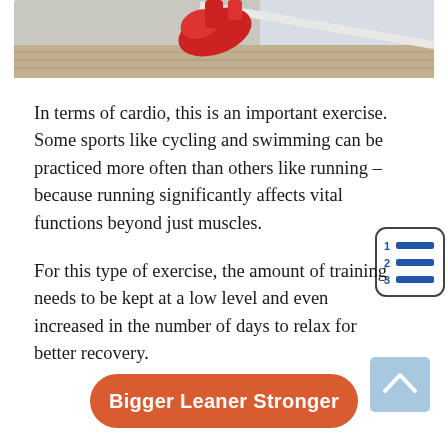[Figure (photo): Cropped photo of a person running in red shoes on a bridge or walkway, urban outdoor setting]
In terms of cardio, this is an important exercise. Some sports like cycling and swimming can be practiced more often than others like running – because running significantly affects vital functions beyond just muscles.
[Figure (illustration): Numbered list icon with rows 1, 2, 3 and horizontal lines, in a rounded square border]
For this type of exercise, the amount of training needs to be kept at a low level and even increased in the number of days to relax for better recovery.
[Figure (illustration): Light blue scroll-to-top button with an upward chevron arrow]
Bigger Leaner Stronger